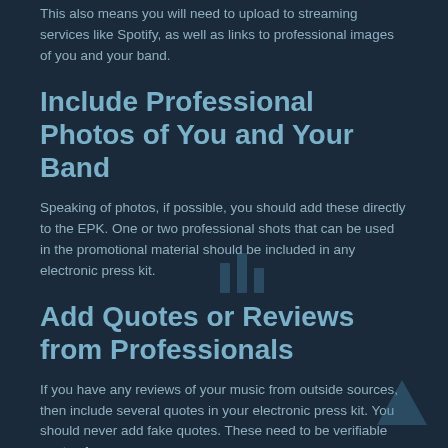This also means you will need to upload to streaming services like Spotify, as well as links to professional images of you and your band.
Include Professional Photos of You and Your Band
Speaking of photos, if possible, you should add these directly to the EPK. One or two professional shots that can be used in the promotional material should be included in any electronic press kit.
Add Quotes or Reviews from Professionals
If you have any reviews of your music from outside sources, then include several quotes in your electronic press kit. You should never add fake quotes. These need to be verifiable quotes from